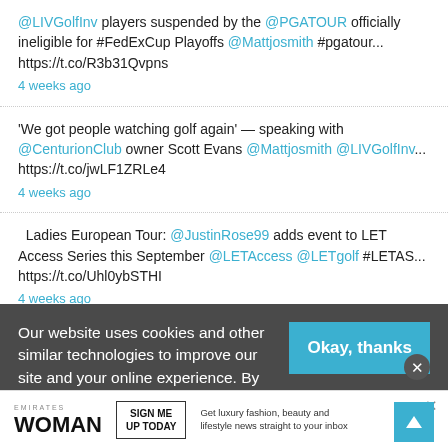@LIVGolfInv players suspended by the @PGATOUR officially ineligible for #FedExCup Playoffs @Mattjosmith #pgatour... https://t.co/R3b31Qvpns
4 weeks ago
'We got people watching golf again' — speaking with @CenturionClub owner Scott Evans @Mattjosmith @LIVGolfInv... https://t.co/jwLF1ZRLe4
4 weeks ago
Ladies European Tour: @JustinRose99 adds event to LET Access Series this September @LETAccess @LETgolf #LETAS... https://t.co/Uhl0ybSTHI
4 weeks ago
Designer golf outlet @Ducadelcosma_ opens first luxury store in Dubai @Mattjosmith https://t.co/uReiRNod1i
Our website uses cookies and other similar technologies to improve our site and your online experience. By continuing to use our website you consent to cookies being u...
Okay, thanks
[Figure (screenshot): Emirates Woman magazine advertisement banner with 'SIGN ME UP TODAY' button and text 'Get luxury fashion, beauty and lifestyle news straight to your inbox']